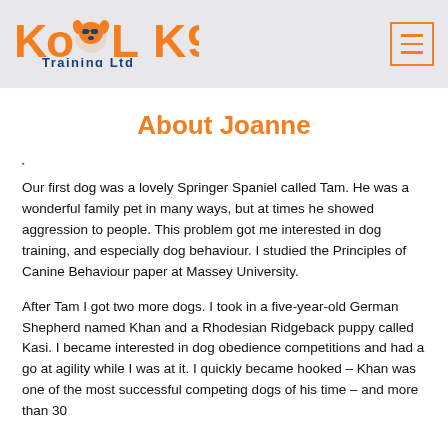Kool K9 Training Ltd — navigation header with logo and menu button
About Joanne
Our first dog was a lovely Springer Spaniel called Tam. He was a wonderful family pet in many ways, but at times he showed aggression to people. This problem got me interested in dog training, and especially dog behaviour. I studied the Principles of Canine Behaviour paper at Massey University.
After Tam I got two more dogs. I took in a five-year-old German Shepherd named Khan and a Rhodesian Ridgeback puppy called Kasi. I became interested in dog obedience competitions and had a go at agility while I was at it. I quickly became hooked – Khan was one of the most successful competing dogs of his time – and more than 30